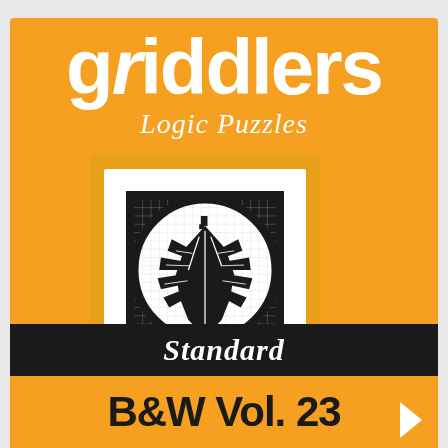griddlers
Logic Puzzles
[Figure (illustration): Black and white nonogram puzzle image showing a leaf design on a grid inside a white frame on an orange background]
[Figure (illustration): Yellow pencil angled diagonally with tip pointing upper-left]
Standard
B&W Vol. 23